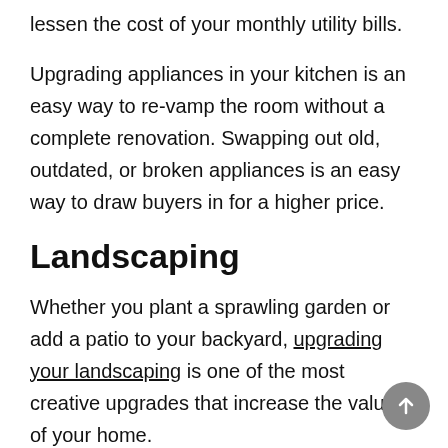lessen the cost of your monthly utility bills.
Upgrading appliances in your kitchen is an easy way to re-vamp the room without a complete renovation. Swapping out old, outdated, or broken appliances is an easy way to draw buyers in for a higher price.
Landscaping
Whether you plant a sprawling garden or add a patio to your backyard, upgrading your landscaping is one of the most creative upgrades that increase the value of your home.
Adding a deck or patio can drastically increase